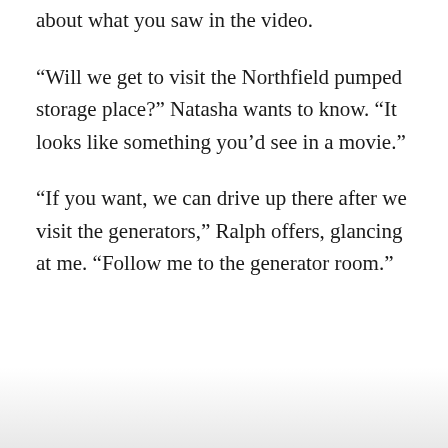about what you saw in the video.
“Will we get to visit the Northfield pumped storage place?” Natasha wants to know. “It looks like something you’d see in a movie.”
“If you want, we can drive up there after we visit the generators,” Ralph offers, glancing at me. “Follow me to the generator room.”